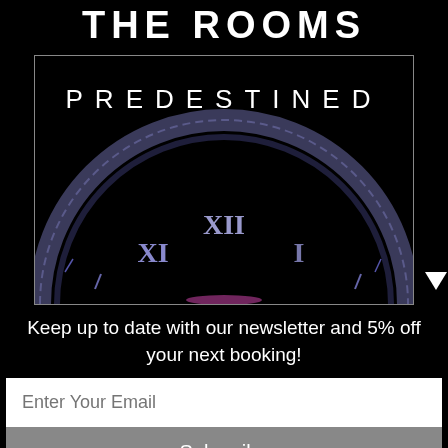THE ROOMS
[Figure (illustration): Dark promotional card with white border showing the text PREDESTINED and a dimly lit clock face with Roman numerals XI, XII, I visible in a semicircle arch at the bottom]
Keep up to date with our newsletter and 5% off your next booking!
Enter Your Email
Subscribe